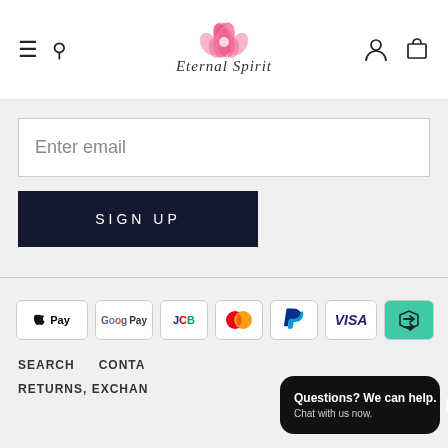[Figure (logo): Eternal Spirit logo with pink lotus flower and cursive text]
Enter email
SIGN UP
[Figure (infographic): Payment method icons: Apple Pay, Google Pay, JCB, Mastercard, PayPal, VISA, and a recycling/exchange symbol]
SEARCH   CONTA...
RETURNS, EXCHAN...
Questions? We can help. Chat with us now.